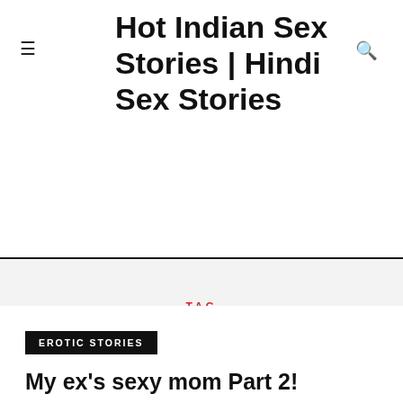Hot Indian Sex Stories | Hindi Sex Stories
TAG
SEXY
EROTIC STORIES
My ex's sexy mom Part 2!
BY ADMIN – AUGUST 22, 2022